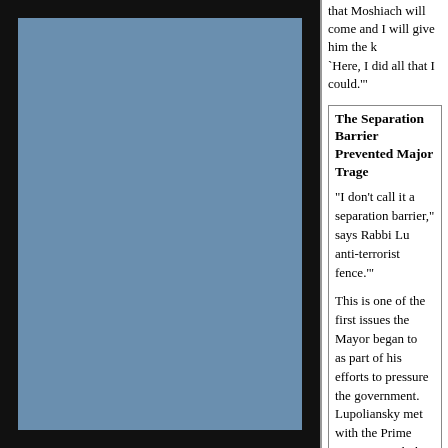that Moshiach will come and I will give him the k 'Here, I did all that I could.'"
The Separation Barrier Prevented Major Trage
"I don't call it a separation barrier," says Rabbi Lu anti-terrorist fence.'"
This is one of the first issues the Mayor began to as part of his efforts to pressure the government. Lupoliansky met with the Prime Minister, with the the Transportation Minister to accelerate the proj months his efforts bore fruit and today the fence
"There are a few delays in the High Court from th are also attempts by the Palestinians to build on very resolutely, destroying [the property] of those addition, we are in contact with the Interior and D action in the matter."
Do the parts of the fence that have already be
The activity in this matter is clear, firm and I must shov shokad shomer,' the hishtadlus has to be d to see the fence completed. Even today, when th someone is also in charge of guarding the plann thank the security branches, the army, the gover prevent and thwart the terrorists who tried to ente with explosives -- b'ezras Hashem major tragedie